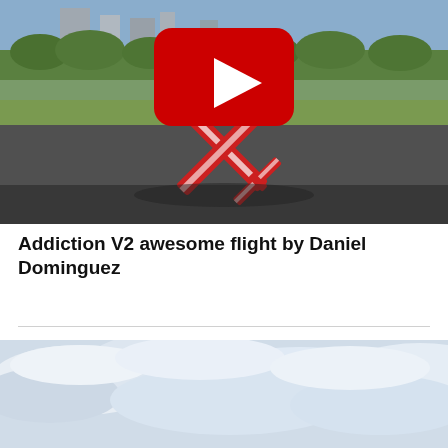[Figure (screenshot): YouTube video thumbnail showing a red RC airplane (Addiction V2) performing a knife-edge maneuver on a runway, with a red YouTube play button overlay. Background shows grass, trees, and buildings.]
Addiction V2 awesome flight by Daniel Dominguez
[Figure (photo): Partial photo showing a cloudy sky, bottom portion of another video or image on the page.]